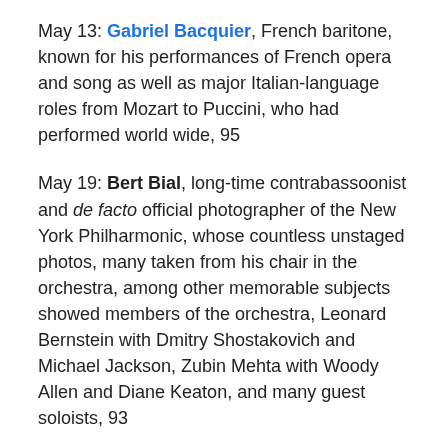May 13: Gabriel Bacquier, French baritone, known for his performances of French opera and song as well as major Italian-language roles from Mozart to Puccini, who had performed world wide, 95
May 19: Bert Bial, long-time contrabassoonist and de facto official photographer of the New York Philharmonic, whose countless unstaged photos, many taken from his chair in the orchestra, among other memorable subjects showed members of the orchestra, Leonard Bernstein with Dmitry Shostakovich and Michael Jackson, Zubin Mehta with Woody Allen and Diane Keaton, and many guest soloists, 93
May 25: Joel Revzen, a staff conductor at the Metropolitan Opera and former conductor of the Minnesota Chorale and the Fargo-Moorhead Symphony,